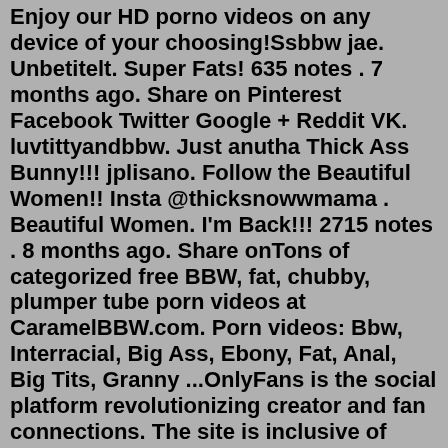Enjoy our HD porno videos on any device of your choosing!Ssbbw jae. Unbetitelt. Super Fats! 635 notes . 7 months ago. Share on Pinterest Facebook Twitter Google + Reddit VK. luvtittyandbbw. Just anutha Thick Ass Bunny!!! jplisano. Follow the Beautiful Women!! Insta @thicksnowwmama . Beautiful Women. I'm Back!!! 2715 notes . 8 months ago. Share onTons of categorized free BBW, fat, chubby, plumper tube porn videos at CaramelBBW.com. Porn videos: Bbw, Interracial, Big Ass, Ebony, Fat, Anal, Big Tits, Granny ...OnlyFans is the social platform revolutionizing creator and fan connections. The site is inclusive of artists and content creators from all genres and allows them to monetize their content while developing authentic relationships with their fanbase.Jasmine Jae - Hanging Out With Mrs. Jae 4K. 11 months ago. 91%. 1080p HD. 9 916 views. 35:54.Loves BBW/SSBBW. 1.5M ratings. Loves BBW/SSBBW. Posts. Likes.Исполнитель: Yoo Jae-ha (유재하). Песня: 사랑하기 때문에 (salanghagi ttaemun-e) •Альбом: 사랑하기 때문에 (Because I Love You). Ssbbw Eye squashing